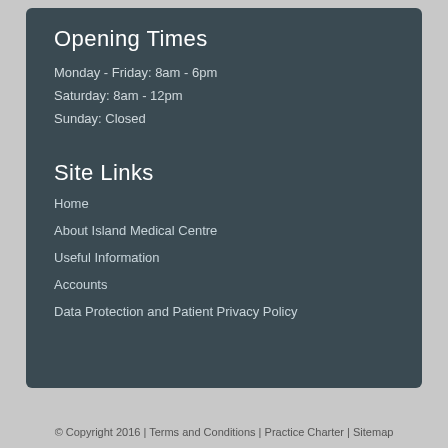Opening Times
Monday - Friday: 8am - 6pm
Saturday: 8am - 12pm
Sunday: Closed
Site Links
Home
About Island Medical Centre
Useful Information
Accounts
Data Protection and Patient Privacy Policy
© Copyright 2016 | Terms and Conditions | Practice Charter | Sitemap